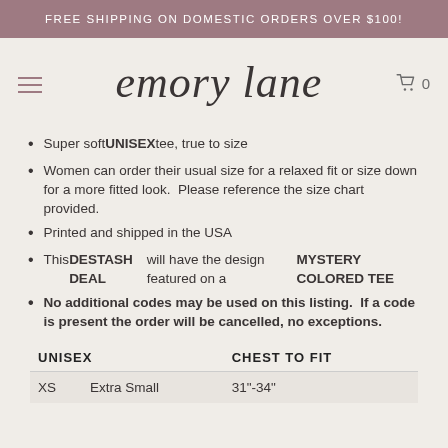FREE SHIPPING ON DOMESTIC ORDERS OVER $100!
[Figure (logo): Emory Lane script logo with hamburger menu and cart icon]
Super soft UNISEX tee, true to size
Women can order their usual size for a relaxed fit or size down for a more fitted look.  Please reference the size chart provided.
Printed and shipped in the USA
This DESTASH DEAL will have the design featured on a MYSTERY COLORED TEE
No additional codes may be used on this listing.  If a code is present the order will be cancelled, no exceptions.
| UNISEX |  | CHEST TO FIT |
| --- | --- | --- |
| XS | Extra Small | 31"-34" |